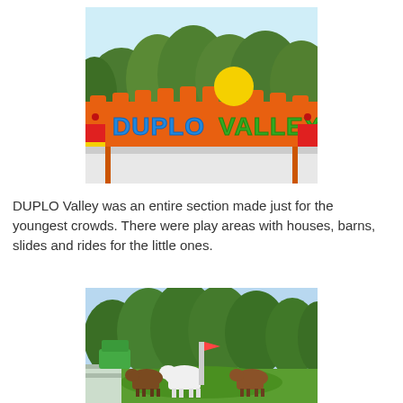[Figure (photo): Entrance sign to DUPLO Valley area with colorful LEGO brick arch and 'DUPLO VALLEY' text, surrounded by green trees and blue sky]
DUPLO Valley was an entire section made just for the youngest crowds. There were play areas with houses, barns, slides and rides for the little ones.
[Figure (photo): Ride area in DUPLO Valley with large animal figures (cows/horses) on a carousel-type ride, green trees and blue sky in background]